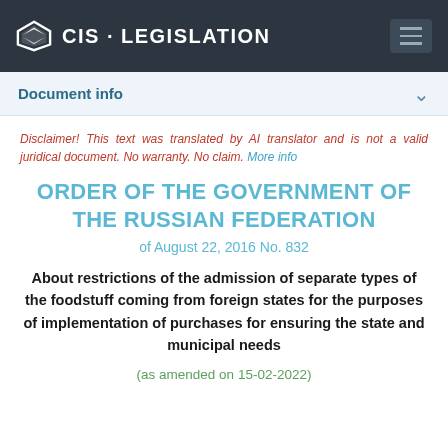CIS · LEGISLATION
Document info
Disclaimer! This text was translated by AI translator and is not a valid juridical document. No warranty. No claim. More info
ORDER OF THE GOVERNMENT OF THE RUSSIAN FEDERATION
of August 22, 2016 No. 832
About restrictions of the admission of separate types of the foodstuff coming from foreign states for the purposes of implementation of purchases for ensuring the state and municipal needs
(as amended on 15-02-2022)